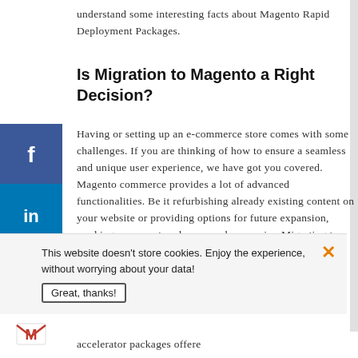understand some interesting facts about Magento Rapid Deployment Packages.
Is Migration to Magento a Right Decision?
Having or setting up an e-commerce store comes with some challenges. If you are thinking of how to ensure a seamless and unique user experience, we have got you covered. Magento commerce provides a lot of advanced functionalities. Be it refurbishing already existing content on your website or providing options for future expansion, working on an e-store has never been easier. Migrating to Magento 2 will also take care of your website
[Figure (infographic): Social media sharing sidebar with Facebook, LinkedIn, WhatsApp, Gmail, and YouTube buttons]
This website doesn't store cookies. Enjoy the experience, without worrying about your data! Great, thanks!
accelerator packages offered